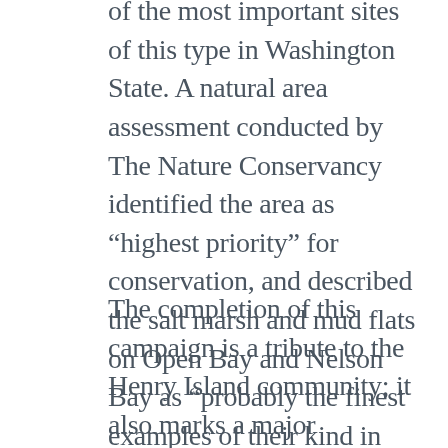of the most important sites of this type in Washington State. A natural area assessment conducted by The Nature Conservancy identified the area as “highest priority” for conservation, and described the salt marsh and mud flats on Open Bay and Nelson Bay as “probably the finest examples of their kind in San Juan County.”
The completion of this campaign is a tribute to the Henry Island community; it also marks a major conservation victory that benefits our entire region, now and in the future.